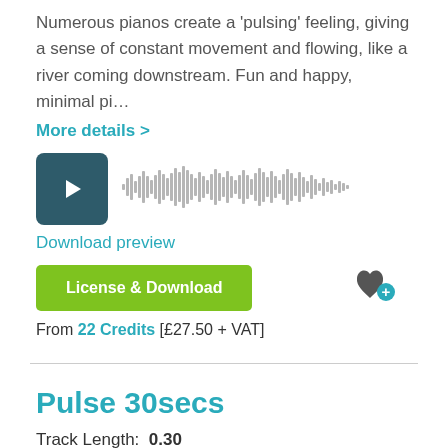Numerous pianos create a 'pulsing' feeling, giving a sense of constant movement and flowing, like a river coming downstream. Fun and happy, minimal pi…
More details >
[Figure (other): Audio player with dark teal play button and waveform visualization]
Download preview
License & Download
From 22 Credits [£27.50 + VAT]
Pulse 30secs
Track Length: 0.30
30 seconds edit of the main music track [Pulse]